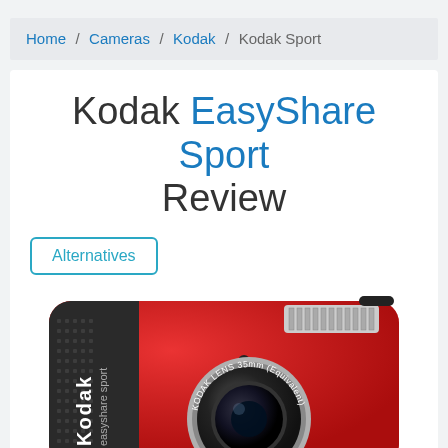Home / Cameras / Kodak / Kodak Sport
Kodak EasyShare Sport Review
Alternatives
[Figure (photo): Red Kodak EasyShare Sport digital camera front view showing KODAK LENS 35mm (Equivalent) label on lens, flash unit at top right, and grip texture on left side]